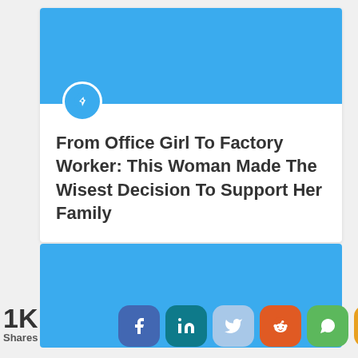[Figure (illustration): Blue card with pin icon and article title]
From Office Girl To Factory Worker: This Woman Made The Wisest Decision To Support Her Family
[Figure (illustration): Second blue card placeholder]
1K Shares
[Figure (infographic): Social share buttons: Facebook, LinkedIn, Twitter, Reddit, WhatsApp, More]